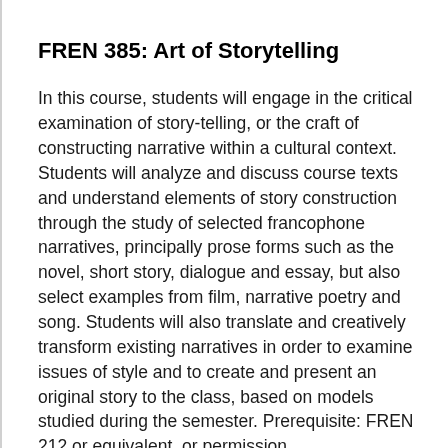FREN 385: Art of Storytelling
In this course, students will engage in the critical examination of story-telling, or the craft of constructing narrative within a cultural context. Students will analyze and discuss course texts and understand elements of story construction through the study of selected francophone narratives, principally prose forms such as the novel, short story, dialogue and essay, but also select examples from film, narrative poetry and song. Students will also translate and creatively transform existing narratives in order to examine issues of style and to create and present an original story to the class, based on models studied during the semester. Prerequisite: FREN 212 or equivalent, or permission of instructor.